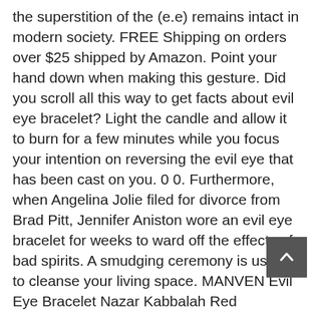the superstition of the (e.e) remains intact in modern society. FREE Shipping on orders over $25 shipped by Amazon. Point your hand down when making this gesture. Did you scroll all this way to get facts about evil eye bracelet? Light the candle and allow it to burn for a few minutes while you focus your intention on reversing the evil eye that has been cast on you. 0 0. Furthermore, when Angelina Jolie filed for divorce from Brad Pitt, Jennifer Aniston wore an evil eye bracelet for weeks to ward off the effects of bad spirits. A smudging ceremony is useful to cleanse your living space. MANVEN Evil Eye Bracelet Nazar Kabbalah Red Protection Bff Friendship Ojo Turco Good Luck String Bracelets for Women Men. Evil Eye Bracelets. Â, The new Boudoir Photographer experiences more adventures. Using a protective ritual can allow you to live without fear of jealousy and envy. A Smudge stick is lit and the smoke will rid your home and yourself from bad vibes. If this is the case, then you are possibly the victim of an energy vampire. The most popular colour? I've gotten compliments from wearing it. Other individuals that fell inexplicably ill can expect to spot charm bracelets a. The